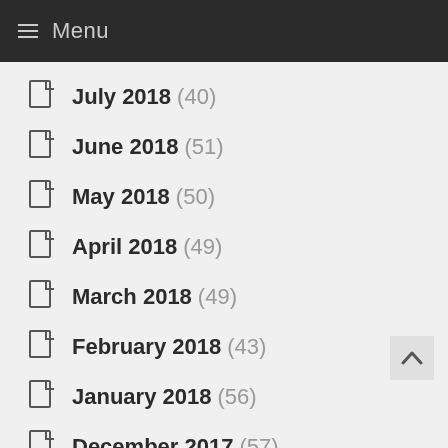Menu
July 2018 (40)
June 2018 (51)
May 2018 (50)
April 2018 (49)
March 2018 (49)
February 2018 (43)
January 2018 (56)
December 2017 (57)
November 2017 (55)